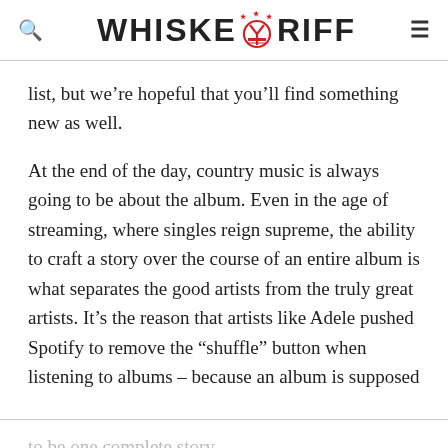WHISKEY RIFF
list, but we’re hopeful that you’ll find something new as well.
At the end of the day, country music is always going to be about the album. Even in the age of streaming, where singles reign supreme, the ability to craft a story over the course of an entire album is what separates the good artists from the truly great artists. It’s the reason that artists like Adele pushed Spotify to remove the “shuffle” button when listening to albums – because an album is supposed
to be one complete story.